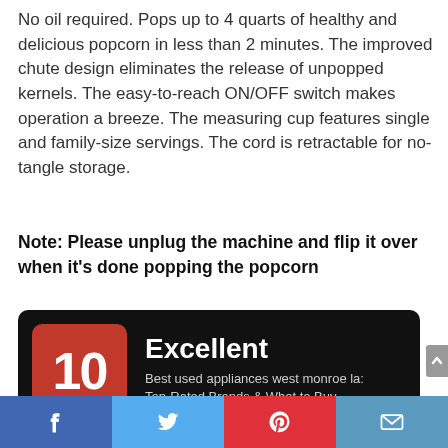No oil required. Pops up to 4 quarts of healthy and delicious popcorn in less than 2 minutes. The improved chute design eliminates the release of unpopped kernels. The easy-to-reach ON/OFF switch makes operation a breeze. The measuring cup features single and family-size servings. The cord is retractable for no-tangle storage.
Note: Please unplug the machine and flip it over when it's done popping the popcorn
[Figure (infographic): Score card showing rating of 10 (Total Score) with label Excellent and description: Best used appliances west monroe la: Top-Rated Brands & What to Buy]
[Figure (infographic): Social media sharing bar with Facebook, Twitter, Pinterest, and Email buttons]